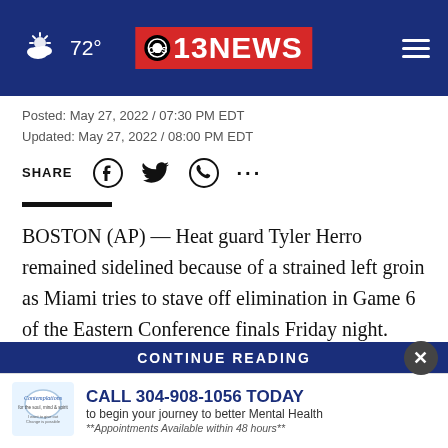72° | 13 NEWS (CBS 13)
Posted: May 27, 2022 / 07:30 PM EDT
Updated: May 27, 2022 / 08:00 PM EDT
SHARE
BOSTON (AP) — Heat guard Tyler Herro remained sidelined because of a strained left groin as Miami tries to stave off elimination in Game 6 of the Eastern Conference finals Friday night.
The reigning sixth man of the year hasn't played since Game 3 of the [series against the] Cel[tics]
CONTINUE READING
CALL 304-908-1056 TODAY to begin your journey to better Mental Health **Appointments Available within 48 hours**